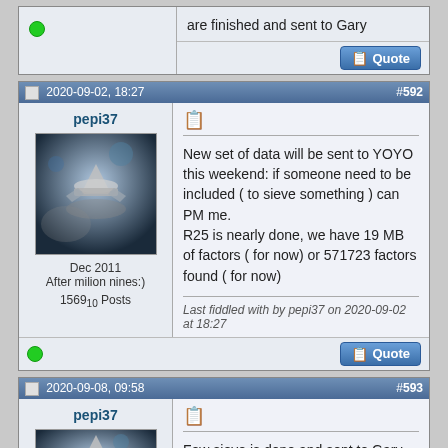are finished and sent to Gary
#592
2020-09-02, 18:27
pepi37
Dec 2011
After milion nines:)
1569₁₀ Posts
New set of data will be sent to YOYO this weekend: if someone need to be included ( to sieve something ) can PM me.
R25 is nearly done, we have 19 MB of factors ( for now) or 571723 factors found ( for now)
Last fiddled with by pepi37 on 2020-09-02 at 18:27
#593
2020-09-08, 09:58
pepi37
Few sieve is done and sent to Gary
R25
S365
S444